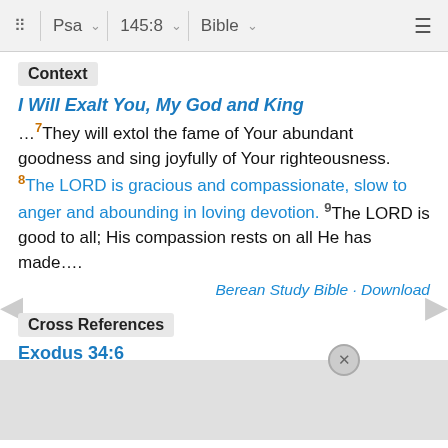Psa  145:8  Bible
Context
I Will Exalt You, My God and King
…7They will extol the fame of Your abundant goodness and sing joyfully of Your righteousness. 8The LORD is gracious and compassionate, slow to anger and abounding in loving devotion. 9The LORD is good to all; His compassion rests on all He has made….
Berean Study Bible · Download
Cross References
Exodus 34:6
Then the LORD passed in front of Moses and called out: "The LORD, the LORD God, is compassionate and gracious, slow to anger, and abounding in loving devotion…